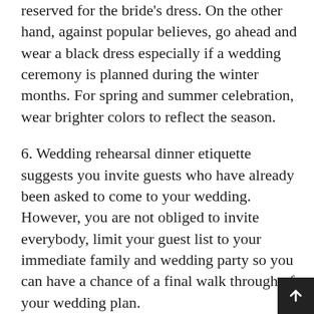reserved for the bride's dress. On the other hand, against popular believes, go ahead and wear a black dress especially if a wedding ceremony is planned during the winter months. For spring and summer celebration, wear brighter colors to reflect the season.
6. Wedding rehearsal dinner etiquette suggests you invite guests who have already been asked to come to your wedding. However, you are not obliged to invite everybody, limit your guest list to your immediate family and wedding party so you can have a chance of a final walk through of your wedding plan.
7. According to our destination wedding etiquette it's OK to keep your guest list on a short side when planning an expensive exotic wedding. However, if you feel bad about not inviting certain people, plan hosting a simple dinner reception to honor guests who you